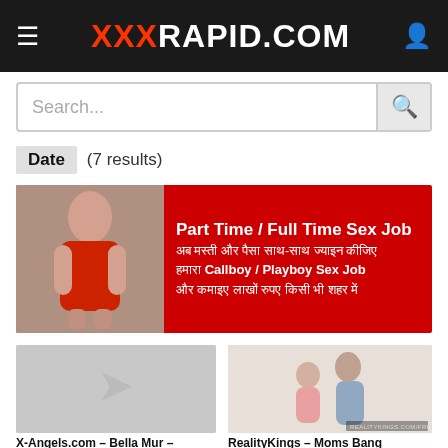XXXRAPID.COM
Search...
Date (7 results)
[Figure (infographic): Red advertisement banner with a woman in red outfit on the left side. Text reads: Part Time / Full Time Sex Job - Hindi text about joining Callboy / Playboy Sex Job and earning lakhs of rupees in any city.]
[Figure (photo): Thumbnail placeholder for X-Angels.com – Bella Mur video]
[Figure (photo): Thumbnail for RealityKings – Moms Bang video showing two people]
X-Angels.com – Bella Mur –
RealityKings – Moms Bang